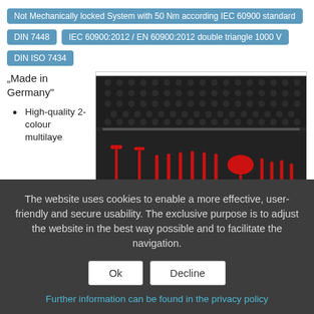Not Mechanically locked System with 50 Nm according IEC 60900 standard
DIN 7448
IEC 60900:2012 / EN 60900:2012 double triangle 1000 V
DIN ISO 7434
"Made in Germany"
High-quality 2-colour multilaye
[Figure (photo): Open tool case with red insulated screwdrivers and tools arranged in foam cutouts]
The website uses cookies to enable a more effective, user-friendly and secure usability. The exclusive purpose is to adjust the website in the best way possible and to facilitate the navigation.
Ok
Decline
Further information can be found in the privacy policy